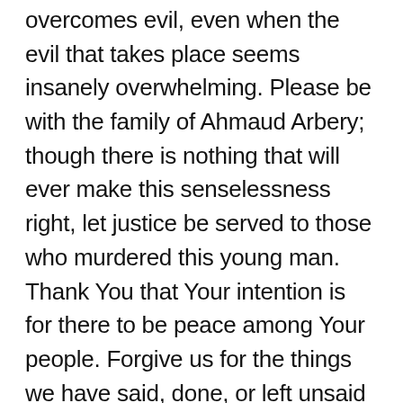overcomes evil, even when the evil that takes place seems insanely overwhelming. Please be with the family of Ahmaud Arbery; though there is nothing that will ever make this senselessness right, let justice be served to those who murdered this young man. Thank You that Your intention is for there to be peace among Your people. Forgive us for the things we have said, done, or left unsaid or undone, that have prevented the good that You intended. Teach us to do and be better. Bring healing to our land, O God. Show us how to love one another, as sisters and brothers, in all things and at all times. May many come into a lasting relationship with You. Be glorified O God, as we seek You to be our strength so that